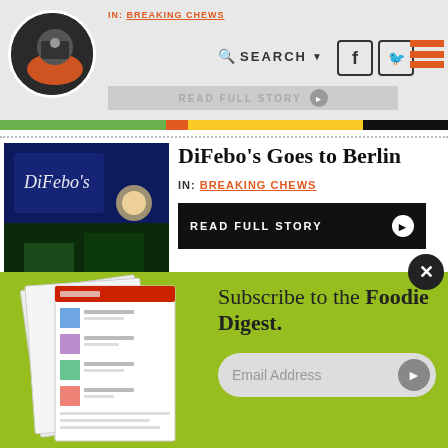IN: BREAKING CHEWS | SEARCH | READ FULL STORY
DiFebo's Goes to Berlin
IN: BREAKING CHEWS
READ FULL STORY
Jakes Downtown Closed
IN: BREAKING CHEWS
READ FULL STORY
Subscribe to the Foodie Digest.
Email Address